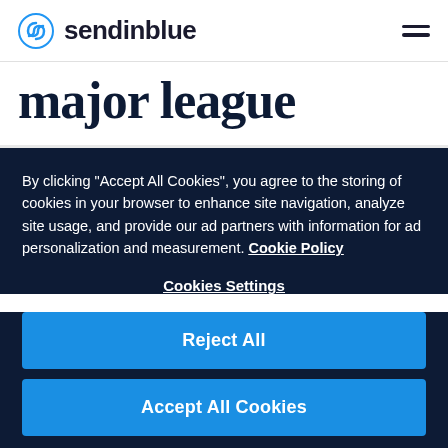sendinblue
major league
By clicking “Accept All Cookies”, you agree to the storing of cookies in your browser to enhance site navigation, analyze site usage, and provide our ad partners with information for ad personalization and measurement. Cookie Policy
Cookies Settings
Reject All
Accept All Cookies